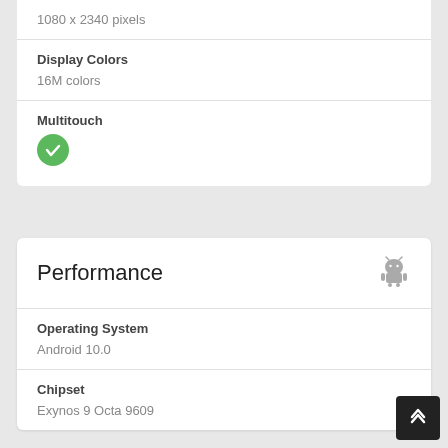1080 x 2340 pixels
Display Colors
16M colors
Multitouch
[Figure (other): Green checkmark circle icon indicating yes/true]
Performance
[Figure (other): Android robot icon]
Operating System
Android 10.0
Chipset
Exynos 9 Octa 9609